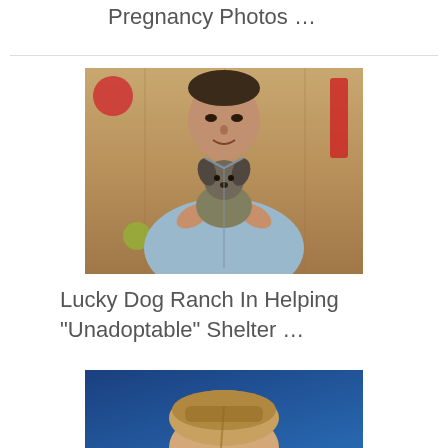Pregnancy Photos …
[Figure (photo): A man in a light blue button-up shirt holding a small Chihuahua-mix dog, photographed indoors with a wooden background and colorful toys visible.]
Lucky Dog Ranch In Helping “Unadoptable” Shelter …
[Figure (photo): Partial photo of a man with short hair against a blue background, showing only the top of the head.]